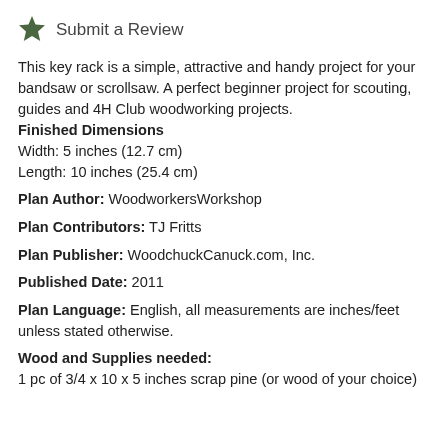Submit a Review
This key rack is a simple, attractive and handy project for your bandsaw or scrollsaw. A perfect beginner project for scouting, guides and 4H Club woodworking projects.
Finished Dimensions
Width: 5 inches (12.7 cm)
Length: 10 inches (25.4 cm)
Plan Author: WoodworkersWorkshop
Plan Contributors: TJ Fritts
Plan Publisher: WoodchuckCanuck.com, Inc.
Published Date: 2011
Plan Language: English, all measurements are inches/feet unless stated otherwise.
Wood and Supplies needed:
1 pc of 3/4 x 10 x 5 inches scrap pine (or wood of your choice)